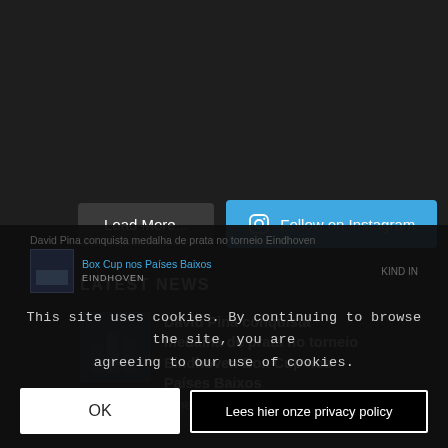[Figure (screenshot): Dark background top area of a website]
Load More...
Follow on Instagram
LATEST NEWS
[Figure (photo): Small thumbnail image showing building/architecture in blue tones]
David Pina conquista medalha de prata no torneio Eindhoven Box Cup nos Países Baixos
June 8, 2022 - 7:22 am
David Pina conquista medalha de prata no torneio Eindhoven Box Cup nos Países Baixos
This site uses cookies. By continuing to browse the site, you are agreeing to our use of cookies.
OK
Lees hier onze privacy policy